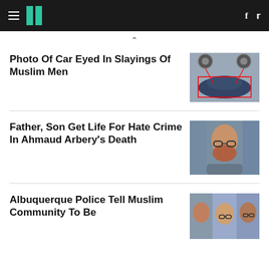HuffPost navigation with hamburger menu, logo, Facebook and Twitter icons
Photo Of Car Eyed In Slayings Of Muslim Men
[Figure (photo): Photo of a dark sedan car with forensic analysis overlay showing wheel comparisons]
Father, Son Get Life For Hate Crime In Ahmaud Arbery's Death
[Figure (photo): Close-up photo of a red-bearded man wearing glasses in a courtroom]
Albuquerque Police Tell Muslim Community To Be
[Figure (photo): Composite photo of Muslim men victims]